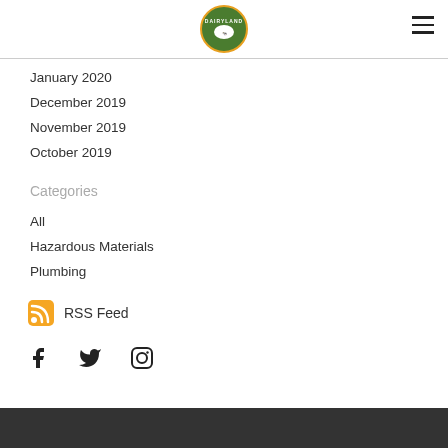Dairyland logo and navigation
January 2020
December 2019
November 2019
October 2019
Categories
All
Hazardous Materials
Plumbing
RSS Feed
Social media icons: Facebook, Twitter, Instagram